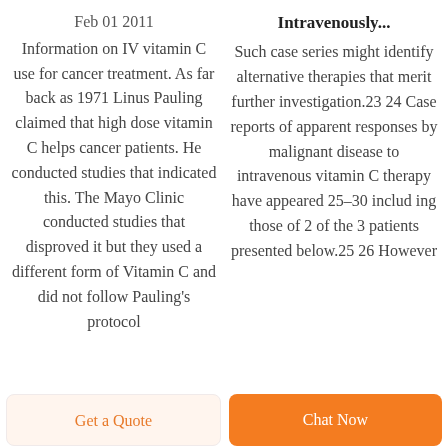Intravenously...
Feb 01 2011 Information on IV vitamin C use for cancer treatment. As far back as 1971 Linus Pauling claimed that high dose vitamin C helps cancer patients. He conducted studies that indicated this. The Mayo Clinic conducted studies that disproved it but they used a different form of Vitamin C and did not follow Pauling's protocol
Such case series might identify alternative therapies that merit further investigation.23 24 Case reports of apparent responses by malignant disease to intravenous vitamin C therapy have appeared 25–30 includ ing those of 2 of the 3 patients presented below.25 26 However
Get a Quote
Chat Now